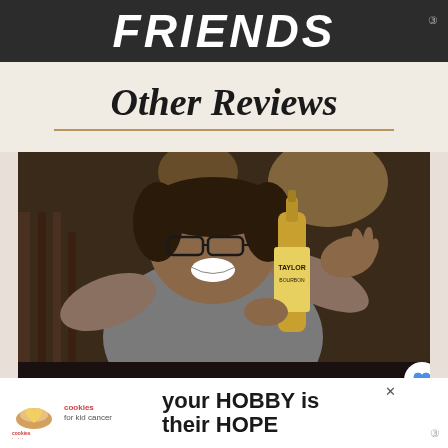FRIENDS
Other Reviews
[Figure (photo): Person smiling and holding up a bottle of E.H. Taylor bourbon whiskey with both hands in a restaurant setting]
[Figure (photo): Advertisement banner: cookies for kid cancer logo with heart-shaped cookie, text 'your HOBBY is their HOPE']